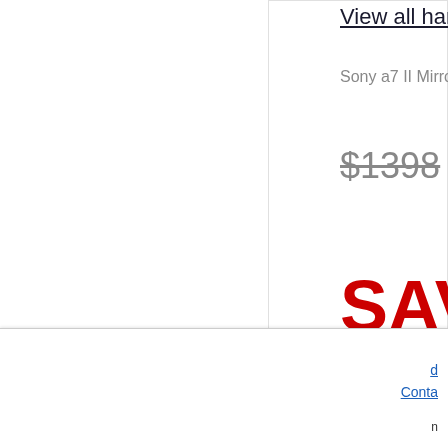View all han
Sony a7 II Mirrorless Ca
$1398
SAVE
d
Conta
n